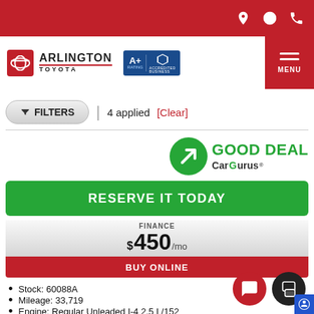Arlington Toyota — Header navigation
FILTERS | 4 applied [Clear]
[Figure (logo): Good Deal CarGurus badge with green circle arrow icon]
RESERVE IT TODAY
FINANCE $450/mo
BUY ONLINE
Stock: 60088A
Mileage: 33,719
Engine: Regular Unleaded I-4 2.5 L/152
Transmission Description: 8-Speed Automatic w
Fuel Economy: 25/33
Exterior Color: Ruby Flare Pearl